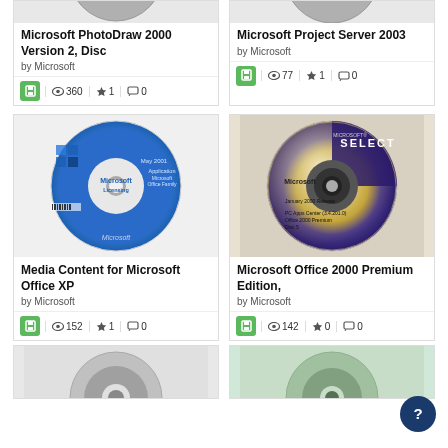[Figure (photo): Microsoft PhotoDraw 2000 Version 2, Disc - partial CD image at top]
Microsoft PhotoDraw 2000 Version 2, Disc
by Microsoft
360 views, 1 favorite, 0 comments
[Figure (photo): Microsoft Project Server 2003 - partial CD image at top]
Microsoft Project Server 2003
by Microsoft
77 views, 1 favorite, 0 comments
[Figure (photo): Media Content for Microsoft Office XP - CD with blue label showing Microsoft Licensing]
Media Content for Microsoft Office XP
by Microsoft
152 views, 1 favorite, 0 comments
[Figure (photo): Microsoft Office 2000 Premium Edition - CD with Microsoft SELECT label, gold and purple design]
Microsoft Office 2000 Premium Edition,
by Microsoft
142 views, 0 favorites, 0 comments
[Figure (photo): Partial CD image at bottom left]
[Figure (photo): Partial CD image at bottom right]